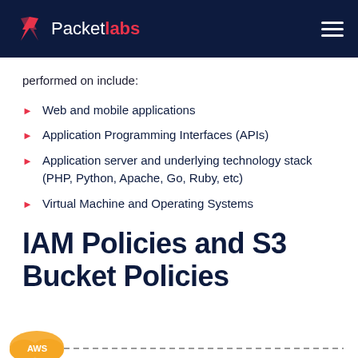Packetlabs
performed on include:
Web and mobile applications
Application Programming Interfaces (APIs)
Application server and underlying technology stack (PHP, Python, Apache, Go, Ruby, etc)
Virtual Machine and Operating Systems
IAM Policies and S3 Bucket Policies
[Figure (infographic): AWS cloud diagram at the bottom of the page showing an AWS badge and a dashed architectural diagram line]